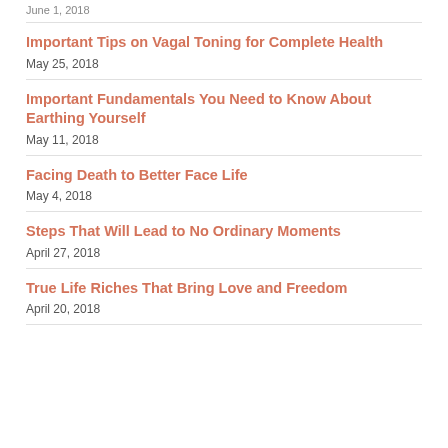June 1, 2018
Important Tips on Vagal Toning for Complete Health
May 25, 2018
Important Fundamentals You Need to Know About Earthing Yourself
May 11, 2018
Facing Death to Better Face Life
May 4, 2018
Steps That Will Lead to No Ordinary Moments
April 27, 2018
True Life Riches That Bring Love and Freedom
April 20, 2018